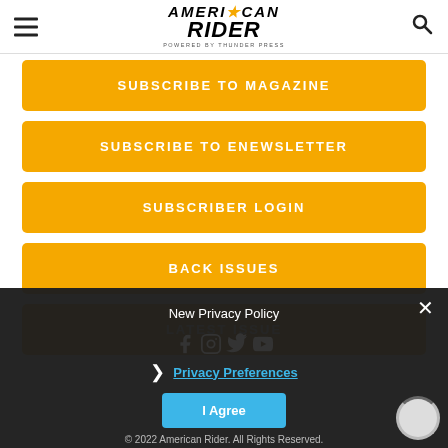[Figure (logo): American Rider magazine logo with 'POWERED BY THUNDER PRESS' tagline]
SUBSCRIBE TO MAGAZINE
SUBSCRIBE TO ENEWSLETTER
SUBSCRIBER LOGIN
BACK ISSUES
LATEST ISSUE
New Privacy Policy
Privacy Preferences
I Agree
© 2022 American Rider. All Rights Reserved.